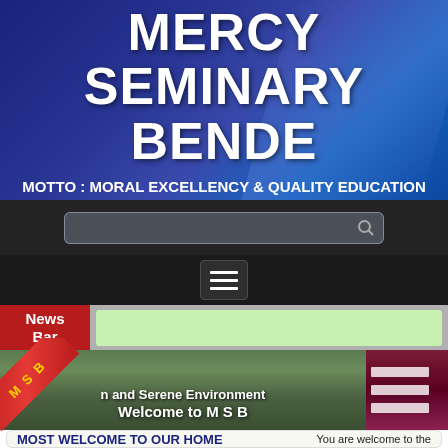MERCY SEMINARY BENDE
MOTTO : MORAL EXCELLENCY & QUALITY EDUCATION
[Figure (screenshot): School website header with blue gradient background, search bar, hamburger menu button, news bar with green ticker area, photo strip of school entrance with palm trees and MSB ribbon badge]
MOST WELCOME TO OUR HOME
You are welcome to the